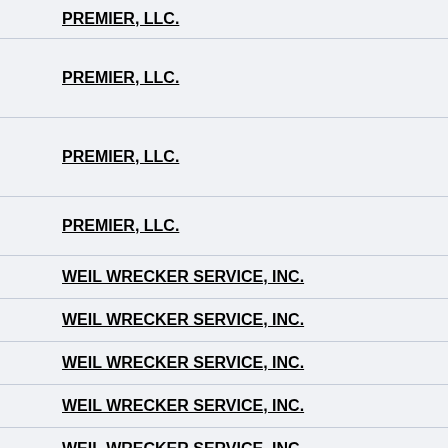PREMIER, LLC.
PREMIER, LLC.
PREMIER, LLC.
PREMIER, LLC.
WEIL WRECKER SERVICE, INC.
WEIL WRECKER SERVICE, INC.
WEIL WRECKER SERVICE, INC.
WEIL WRECKER SERVICE, INC.
WEIL WRECKER SERVICE, INC.